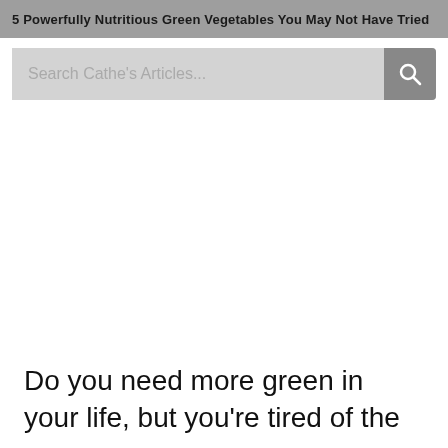5 Powerfully Nutritious Green Vegetables You May Not Have Tried
Search Cathe's Articles...
Do you need more green in your life, but you're tired of the